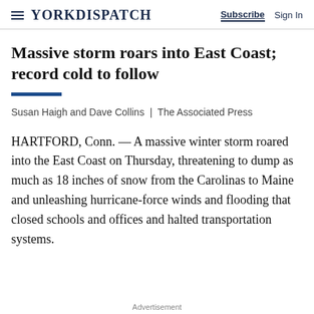YORK DISPATCH  Subscribe  Sign In
Massive storm roars into East Coast; record cold to follow
Susan Haigh and Dave Collins  |  The Associated Press
HARTFORD, Conn. — A massive winter storm roared into the East Coast on Thursday, threatening to dump as much as 18 inches of snow from the Carolinas to Maine and unleashing hurricane-force winds and flooding that closed schools and offices and halted transportation systems.
Advertisement